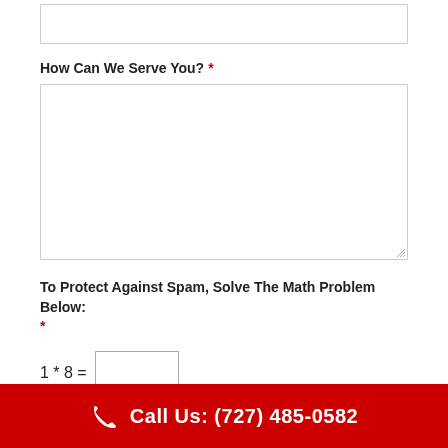[Figure (other): Empty text input field at top of contact form]
How Can We Serve You? *
[Figure (other): Large textarea input field for user message]
To Protect Against Spam, Solve The Math Problem Below: *
Call Us: (727) 485-0582